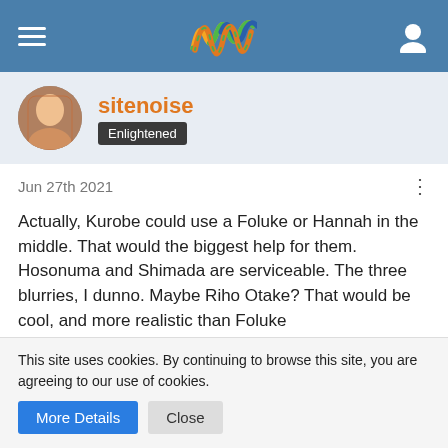sitenoise forum header with logo
sitenoise
Enlightened
Jun 27th 2021
Actually, Kurobe could use a Foluke or Hannah in the middle. That would the biggest help for them. Hosonuma and Shimada are serviceable. The three blurries, I dunno. Maybe Riho Otake? That would be cool, and more realistic than Foluke
sitenoise
Enlightened
This site uses cookies. By continuing to browse this site, you are agreeing to our use of cookies.